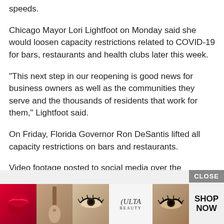speeds.
Chicago Mayor Lori Lightfoot on Monday said she would loosen capacity restrictions related to COVID-19 for bars, restaurants and health clubs later this week.
“This next step in our reopening is good news for business owners as well as the communities they serve and the thousands of residents that work for them,” Lightfoot said.
On Friday, Florida Governor Ron DeSantis lifted all capacity restrictions on bars and restaurants.
Video footage posted to social media over the weekend showed mask-less Floridians drinking and dancing in crowded bars.
[Figure (other): Ulta Beauty advertisement banner with makeup images and SHOP NOW call to action]